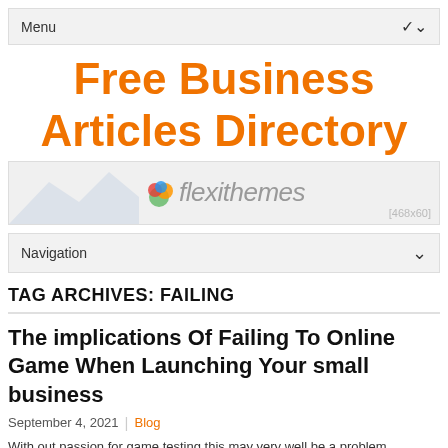Menu
Free Business Articles Directory
[Figure (logo): Flexithemes banner logo with mountain silhouette and colorful leaf icon, [468x60]]
Navigation
TAG ARCHIVES: FAILING
The implications Of Failing To Online Game When Launching Your small business
September 4, 2021 | Blog
With out passion for game testing this may very well be a problem.